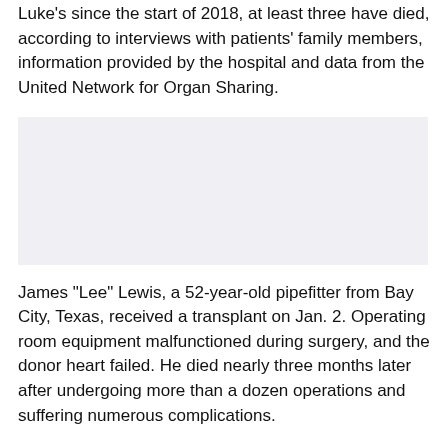Luke's since the start of 2018, at least three have died, according to interviews with patients' family members, information provided by the hospital and data from the United Network for Organ Sharing.
[Figure (photo): Gray/light blue placeholder image area]
James "Lee" Lewis, a 52-year-old pipefitter from Bay City, Texas, received a transplant on Jan. 2. Operating room equipment malfunctioned during surgery, and the donor heart failed. He died nearly three months later after undergoing more than a dozen operations and suffering numerous complications.
His wife, Jennifer, chronicled her husband's transplant and drawn-out death on Facebook.